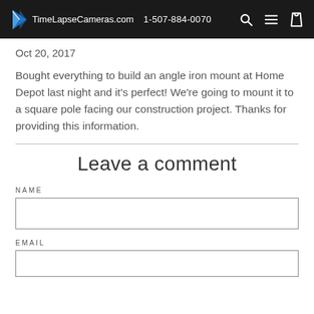TimeLapseCameras.com  1-507-884-0070
Oct 20, 2017
Bought everything to build an angle iron mount at Home Depot last night and it's perfect! We're going to mount it to a square pole facing our construction project. Thanks for providing this information.
Leave a comment
NAME
EMAIL